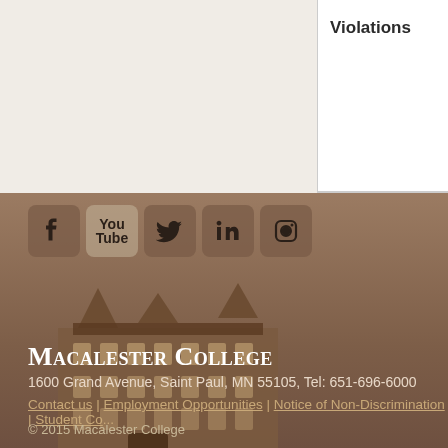Violations
[Figure (other): Social media icons: Facebook, YouTube, Twitter, LinkedIn, Instagram]
[Figure (photo): Sepia-toned photograph of Macalester College main building, a historic multi-story brick building with gothic architectural details]
Macalester College
1600 Grand Avenue, Saint Paul, MN 55105, Tel: 651-696-6000
Contact us | Employment Opportunities | Notice of Non-Discrimination | Student Co...
© 2015 Macalester College